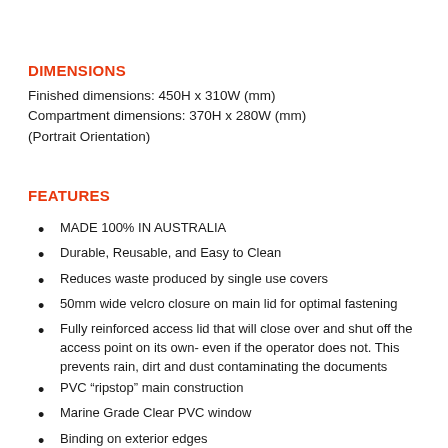DIMENSIONS
Finished dimensions: 450H x 310W (mm)
Compartment dimensions: 370H x 280W (mm)
(Portrait Orientation)
FEATURES
MADE 100% IN AUSTRALIA
Durable, Reusable, and Easy to Clean
Reduces waste produced by single use covers
50mm wide velcro closure on main lid for optimal fastening
Fully reinforced access lid that will close over and shut off the access point on its own- even if the operator does not. This prevents rain, dirt and dust contaminating the documents
PVC “ripstop” main construction
Marine Grade Clear PVC window
Binding on exterior edges